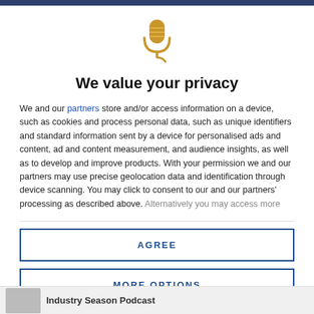[Figure (logo): Golden microphone icon with a curly cord at center top]
We value your privacy
We and our partners store and/or access information on a device, such as cookies and process personal data, such as unique identifiers and standard information sent by a device for personalised ads and content, ad and content measurement, and audience insights, as well as to develop and improve products. With your permission we and our partners may use precise geolocation data and identification through device scanning. You may click to consent to our and our partners' processing as described above. Alternatively you may access more
AGREE
MORE OPTIONS
Industry Season Podcast